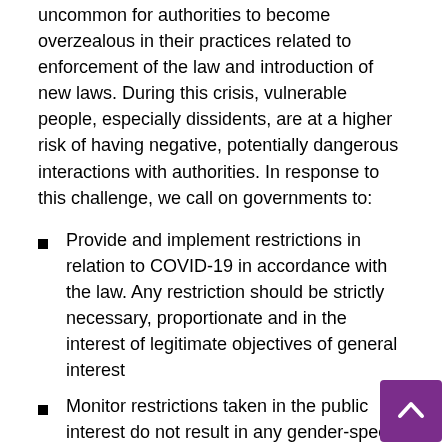uncommon for authorities to become overzealous in their practices related to enforcement of the law and introduction of new laws. During this crisis, vulnerable people, especially dissidents, are at a higher risk of having negative, potentially dangerous interactions with authorities. In response to this challenge, we call on governments to:
Provide and implement restrictions in relation to COVID-19 in accordance with the law. Any restriction should be strictly necessary, proportionate and in the interest of legitimate objectives of general interest
Monitor restrictions taken in the public interest do not result in any gender-specific harm to women and girls who are already extremely vulnerable and at risk of being denied their basic human rights
Consult any changes in existing laws with human rights organizations and Ombudsperson/Human Rights Defenders
Encourage law enforcement officers to focus on increasing safety rather than arrests
Train law enforcement officers, care workers, and social